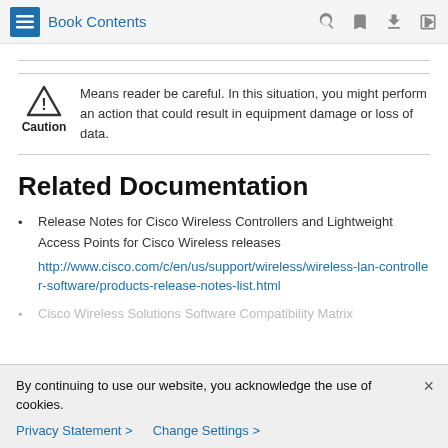Book Contents
Caution — Means reader be careful. In this situation, you might perform an action that could result in equipment damage or loss of data.
Related Documentation
Release Notes for Cisco Wireless Controllers and Lightweight Access Points for Cisco Wireless releases
http://www.cisco.com/c/en/us/support/wireless/wireless-lan-controller-software/products-release-notes-list.html
Cisco Wireless Solutions Software Compatibility Matrix
By continuing to use our website, you acknowledge the use of cookies.
Privacy Statement > Change Settings >